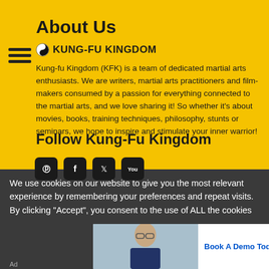About Us
☯ KUNG-FU KINGDOM
Kung-fu Kingdom (KFK) is a team of dedicated martial arts enthusiasts. We are writers, martial arts practitioners and film-makers consumed by a passion for everything connected to the martial arts, and we love sharing it! So whether it's about movies, books, training techniques, philosophy, stunts or seminars, we hope to inspire and stimulate your inner warrior!
Follow Kung-Fu Kingdom
[Figure (other): Social media icons: Pinterest, Facebook, Twitter, YouTube]
We use cookies on our website to give you the most relevant experience by remembering your preferences and repeat visits. By clicking "Accept", you consent to the use of ALL the cookies
[Figure (screenshot): Advertisement banner: Book A Demo Today with photo of a man in glasses]
Ad